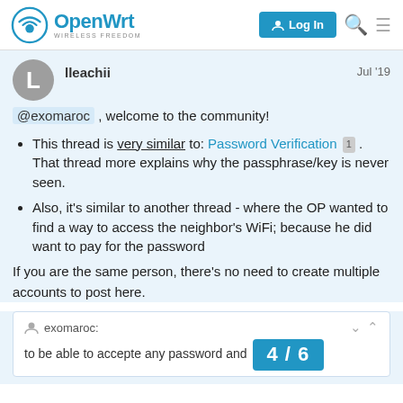OpenWrt WIRELESS FREEDOM | Log In
lleachii   Jul '19
@exomaroc , welcome to the community!
This thread is very similar to: Password Verification 1 . That thread more explains why the passphrase/key is never seen.
Also, it's similar to another thread - where the OP wanted to find a way to access the neighbor's WiFi; because he did want to pay for the password
If you are the same person, there's no need to create multiple accounts to post here.
exomaroc:
to be able to accepte any password and
4 / 6